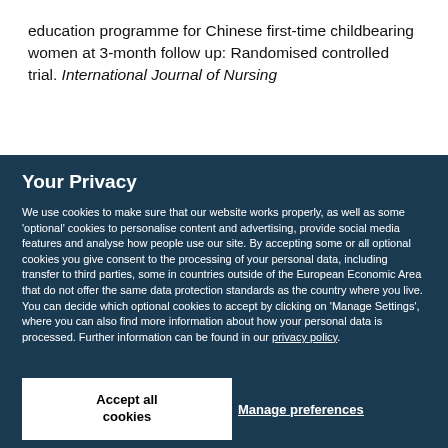education programme for Chinese first-time childbearing women at 3-month follow up: Randomised controlled trial. International Journal of Nursing
Your Privacy
We use cookies to make sure that our website works properly, as well as some 'optional' cookies to personalise content and advertising, provide social media features and analyse how people use our site. By accepting some or all optional cookies you give consent to the processing of your personal data, including transfer to third parties, some in countries outside of the European Economic Area that do not offer the same data protection standards as the country where you live. You can decide which optional cookies to accept by clicking on 'Manage Settings', where you can also find more information about how your personal data is processed. Further information can be found in our privacy policy.
Accept all cookies
Manage preferences